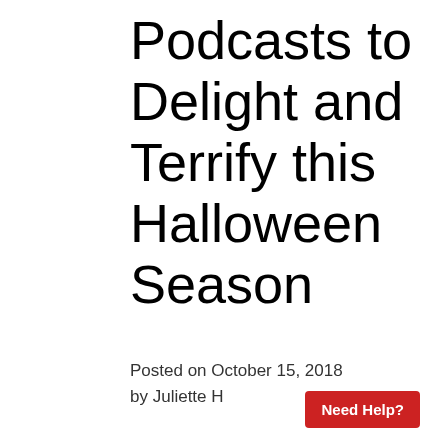Podcasts to Delight and Terrify this Halloween Season
Posted on October 15, 2018
by Juliette H
Need Help?